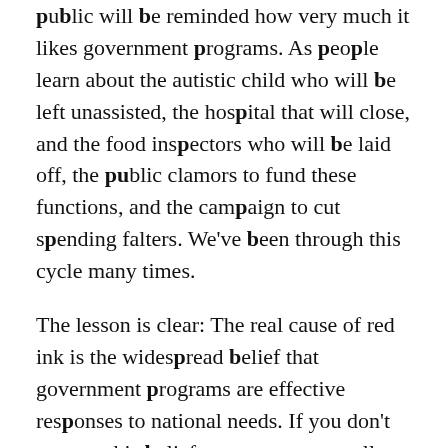public will be reminded how very much it likes government programs. As people learn about the autistic child who will be left unassisted, the hospital that will close, and the food inspectors who will be laid off, the public clamors to fund these functions, and the campaign to cut spending falters. We've been through this cycle many times.
The lesson is clear: The real cause of red ink is the widespread belief that government programs are effective responses to national needs. If you don't counter this belief, you can never really cut government spending.
Where does this confidence in government come